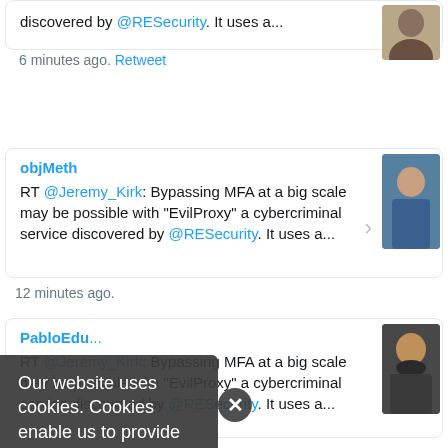discovered by @RESecurity. It uses a...
6 minutes ago. Retweet
objMeth
RT @Jeremy_Kirk: Bypassing MFA at a big scale may be possible with "EvilProxy" a cybercriminal service discovered by @RESecurity. It uses a...
12 minutes ago.
PabloEdu...
RT @Jeremy_Kirk: Bypassing MFA at a big scale may be possible with "EvilProxy" a cybercriminal service discovered by @RESecurity. It uses a...
13 minutes ago.
FrodeHo...
RT @Jeremy_Kirk: Bypassing MFA at a big scale may be possible with "EvilProxy" a cybercriminal service discovered by @RESecurity. It uses a...
Our website uses cookies. Cookies enable us to provide the best experience possible and help us understand how visitors use our website. By browsing databreachtoday.eu, you agree to our use of cookies.